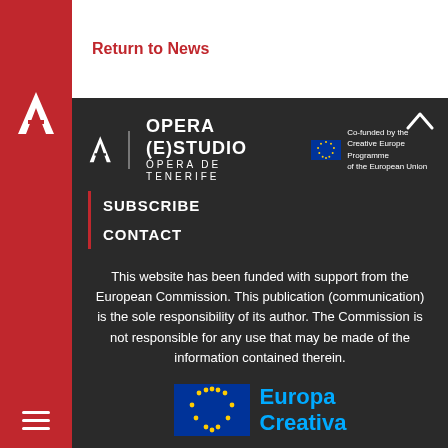Return to News
[Figure (logo): Opera (E)Studio / Ópera de Tenerife logo with EU Co-funded by the Creative Europe Programme of the European Union badge and caret/up arrow]
SUBSCRIBE
CONTACT
This website has been funded with support from the European Commission. This publication (communication) is the sole responsibility of its author. The Commission is not responsible for any use that may be made of the information contained therein.
[Figure (logo): Europa Creativa logo with EU flag and blue Europa Creativa text]